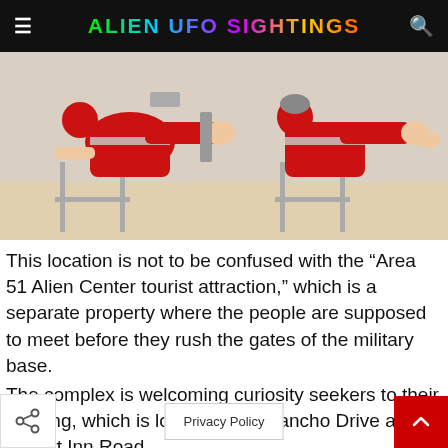ALIEN UFO SIGHTINGS
[Figure (photo): Two people dressed in red jumpsuits with reflective silver stripes sitting in folding chairs outdoors, legs raised, appearing to relax in a desert-like setting.]
This location is not to be confused with the “Area 51 Alien Center tourist attraction,” which is a separate property where the people are supposed to meet before they rush the gates of the military base.
The complex is welcoming curiosity seekers to their building, which is located near Rancho Drive and Desert Inn Road.